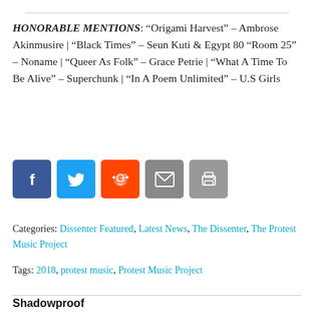HONORABLE MENTIONS: “Origami Harvest” – Ambrose Akinmusire | “Black Times” – Seun Kuti & Egypt 80 “Room 25” – Noname | “Queer As Folk” – Grace Petrie | “What A Time To Be Alive” – Superchunk | “In A Poem Unlimited” – U.S Girls
[Figure (infographic): Row of five social sharing icon buttons: Facebook (blue), Twitter (light blue), Reddit (orange-red), Email (grey), Print (grey)]
Categories: Dissenter Featured, Latest News, The Dissenter, The Protest Music Project
Tags: 2018, protest music, Protest Music Project
Shadowproof